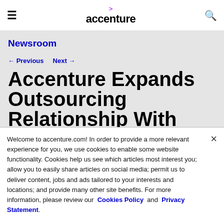≡  accenture  🔍
Newsroom
← Previous   Next →
Accenture Expands Outsourcing Relationship With Sandvik
Welcome to accenture.com! In order to provide a more relevant experience for you, we use cookies to enable some website functionality. Cookies help us see which articles most interest you; allow you to easily share articles on social media; permit us to deliver content, jobs and ads tailored to your interests and locations; and provide many other site benefits. For more information, please review our Cookies Policy and Privacy Statement.